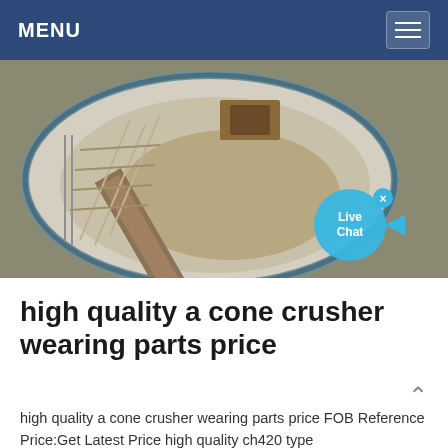MENU
[Figure (photo): Aerial view of a large industrial cone crusher or tank/separator unit with metal framework and conveyor, seen from above. A 'Live Chat' bubble overlay is visible at bottom right.]
high quality a cone crusher wearing parts price
high quality a cone crusher wearing parts price FOB Reference Price:Get Latest Price high quality ch420 type...